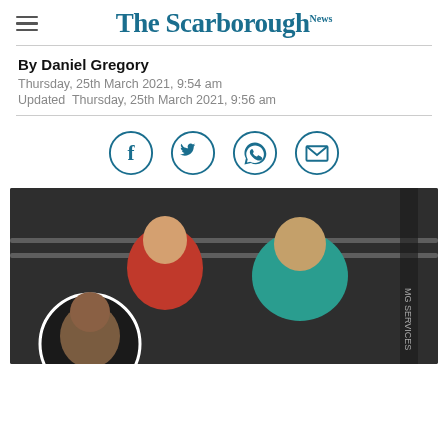The Scarborough News
By Daniel Gregory
Thursday, 25th March 2021, 9:54 am
Updated  Thursday, 25th March 2021, 9:56 am
[Figure (infographic): Social sharing icons: Facebook, Twitter, WhatsApp, Email — circular teal outlined icons]
[Figure (photo): Two men sitting in a boxing ring, one wearing a red shirt, one wearing a teal sleeveless top. A circular inset photo of a boxer (Anthony Joshua) is in the lower left corner.]